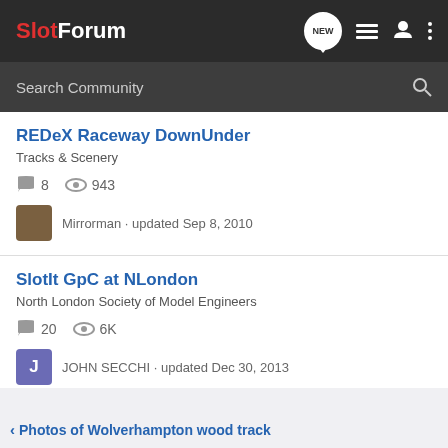SlotForum
Search Community
REDeX Raceway DownUnder
Tracks & Scenery
8  943
Mirrorman · updated Sep 8, 2010
SlotIt GpC at NLondon
North London Society of Model Engineers
20  6K
JOHN SECCHI · updated Dec 30, 2013
Photos of Wolverhampton wood track